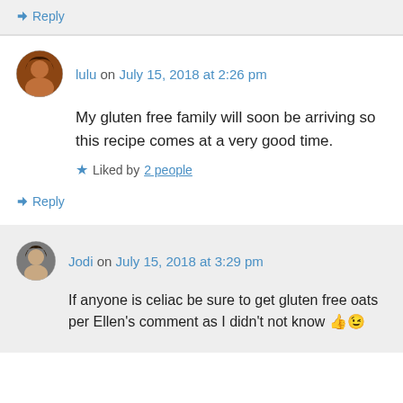↳ Reply
lulu on July 15, 2018 at 2:26 pm
My gluten free family will soon be arriving so this recipe comes at a very good time.
★ Liked by 2 people
↳ Reply
Jodi on July 15, 2018 at 3:29 pm
If anyone is celiac be sure to get gluten free oats per Ellen's comment as I didn't not know 👍😉